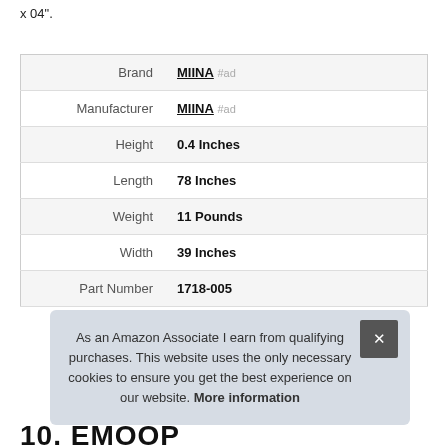x 04".
| Brand | MIINA #ad |
| Manufacturer | MIINA #ad |
| Height | 0.4 Inches |
| Length | 78 Inches |
| Weight | 11 Pounds |
| Width | 39 Inches |
| Part Number | 1718-005 |
As an Amazon Associate I earn from qualifying purchases. This website uses the only necessary cookies to ensure you get the best experience on our website. More information
10. EMOOP